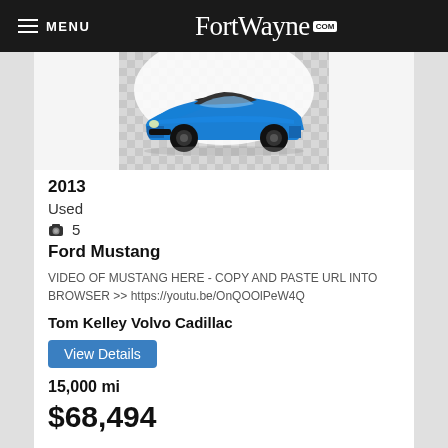MENU  FortWayne.com
[Figure (photo): Blue 2013 Ford Mustang convertible parked on a checkered floor showroom]
2013
Used
📷 5
Ford Mustang
VIDEO OF MUSTANG HERE - COPY AND PASTE URL INTO BROWSER >> https://youtu.be/OnQOOlPeW4Q
Tom Kelley Volvo Cadillac
View Details
15,000 mi
$68,494